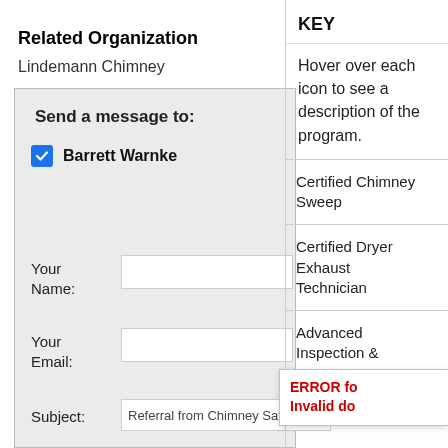Related Organization
Lindemann Chimney
Send a message to:
Barrett Warnke
Your Name:
Your Email:
Subject: Referral from Chimney Safety I
KEY
Hover over each icon to see a description of the program.
Certified Chimney Sweep
Certified Dryer Exhaust Technician
Advanced Inspection &
Chimney R
ERROR for site owner: Invalid do